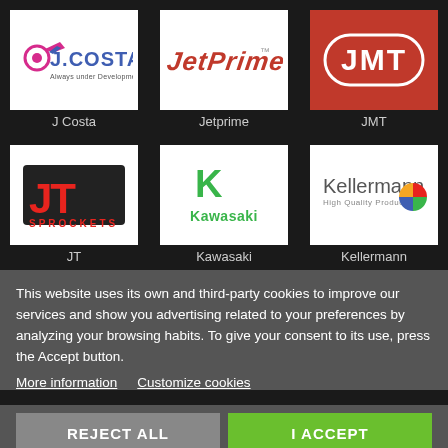[Figure (logo): J Costa logo - colorful motorcycle brand logo with text 'Always under Development']
J Costa
[Figure (logo): Jetprime logo - italic metallic text on white background]
Jetprime
[Figure (logo): JMT logo - white JMT text on red oval on red background]
JMT
[Figure (logo): JT Sprockets logo - red stylized JT letters with SPROCKETS text on dark background]
JT
[Figure (logo): Kawasaki logo - green K symbol above Kawasaki text]
Kawasaki
[Figure (logo): Kellermann High Quality Products logo with colorful circular icon]
Kellermann
This website uses its own and third-party cookies to improve our services and show you advertising related to your preferences by analyzing your browsing habits. To give your consent to its use, press the Accept button.
More information   Customize cookies
REJECT ALL   I ACCEPT